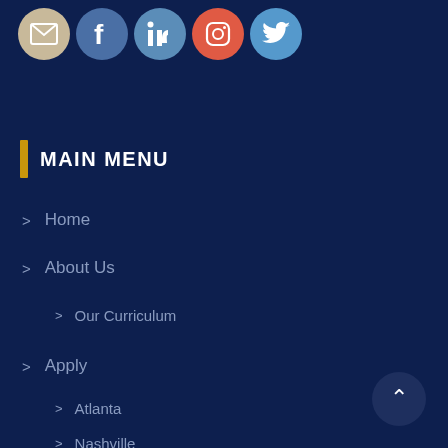[Figure (other): Row of five social media icon circles: email (tan), Facebook (blue), LinkedIn (steel blue), Instagram (orange-red), Twitter (light blue)]
MAIN MENU
> Home
> About Us
> Our Curriculum
> Apply
> Atlanta
> Nashville
> Bay Area